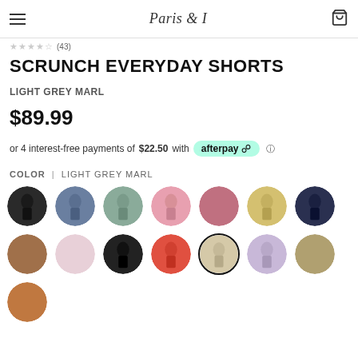Paris & I
★★★★☆ (43)
SCRUNCH EVERYDAY SHORTS
LIGHT GREY MARL
$89.99
or 4 interest-free payments of $22.50 with afterpay
COLOR | LIGHT GREY MARL
[Figure (other): Color swatch grid showing 15 circular color/product swatches for the Scrunch Everyday Shorts in various colors including black, blue, teal, pink, mauve, yellow-pattern, dark navy, brown, light pink, dark/black, red, light grey marl (selected), lavender, tan/khaki, and copper/rust.]